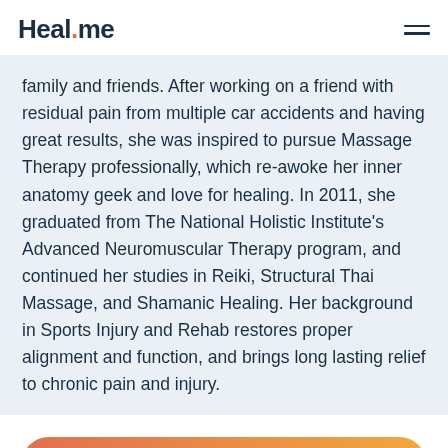Heal.me
family and friends. After working on a friend with residual pain from multiple car accidents and having great results, she was inspired to pursue Massage Therapy professionally, which re-awoke her inner anatomy geek and love for healing. In 2011, she graduated from The National Holistic Institute's Advanced Neuromuscular Therapy program, and continued her studies in Reiki, Structural Thai Massage, and Shamanic Healing. Her background in Sports Injury and Rehab restores proper alignment and function, and brings long lasting relief to chronic pain and injury.
BOOK SESSION